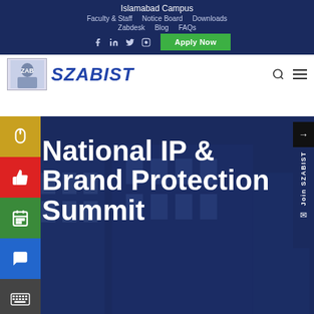Islamabad Campus
Faculty & Staff | Notice Board | Downloads
Zabdesk | Blog | FAQs
Apply Now
[Figure (logo): SZABIST university logo with portrait image and blue italic SZABIST text]
National IP & Brand Protection Summit